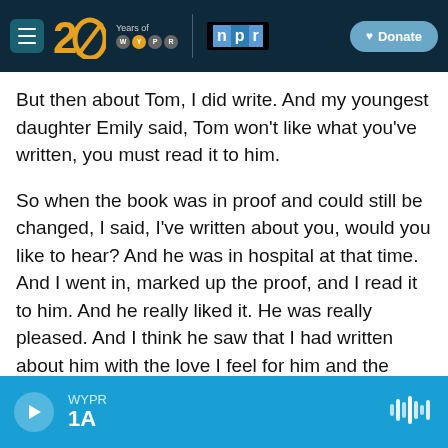WYPR — 20 Years of WYPR | NPR | Donate
But then about Tom, I did write. And my youngest daughter Emily said, Tom won't like what you've written, you must read it to him.
So when the book was in proof and could still be changed, I said, I've written about you, would you like to hear? And he was in hospital at that time. And I went in, marked up the proof, and I read it to him. And he really liked it. He was really pleased. And I think he saw that I had written about him with the love I feel for him and the admiration I feel for him. And I think he felt, actually, that it was something good, that there he was described
WYPR 1A